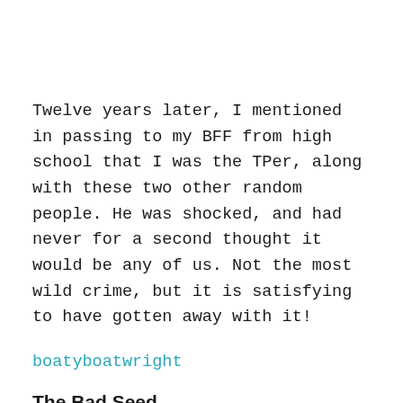Twelve years later, I mentioned in passing to my BFF from high school that I was the TPer, along with these two other random people. He was shocked, and had never for a second thought it would be any of us. Not the most wild crime, but it is satisfying to have gotten away with it!
boatyboatwright
The Bad Seed
A kid at my high school ended up lighting his house on fire and killing his dad, brothers and